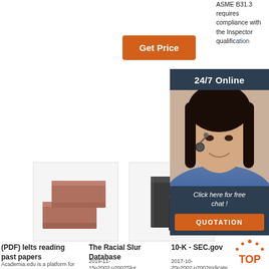ASME B31.3 requires compliance with the Inspector qualification
[Figure (other): Orange 'Get Price' button]
[Figure (other): 24/7 Online chat sidebar with agent photo, 'Click here for free chat!' text, and orange QUOTATION button]
[Figure (other): Orange partial 'Get' button]
[Figure (photo): Two red/brown brick blocks on white background]
[Figure (photo): Dark gray rectangular box/block product]
(PDF) Ielts reading past papers
Academia.edu is a platform for
The Racial Slur Database
2019-11-15u2002·u2002Slur Represents:
10-K - SEC.gov
2017-10-20u2002·u2002Indicate by check mark
[Figure (logo): Orange TOP badge/logo with dotted circle arc above the letters TOP]